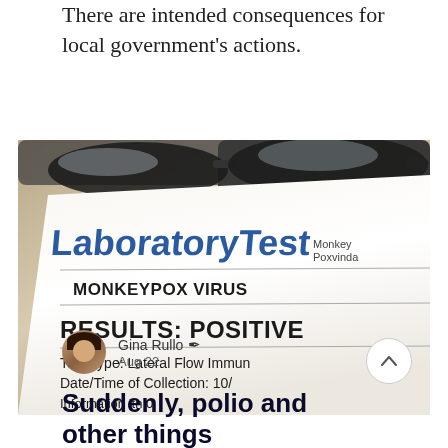There are intended consequences for local government's actions.
[Figure (photo): Photo of a laboratory test document showing 'MONKEYPOX VIRUS' with 'RESULTS: POSITIVE', test type 'Lateral Flow Immun...', Date/Time of Collection: 10/... with glasses resting on the document]
Gina Rullo ✒ Aug 22
Suddenly, polio and other things